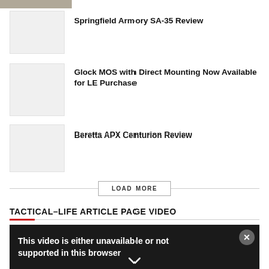[Figure (photo): Top partial image strip, cropped]
Springfield Armory SA-35 Review
Glock MOS with Direct Mounting Now Available for LE Purchase
Beretta APX Centurion Review
LOAD MORE
TACTICAL-LIFE ARTICLE PAGE VIDEO
[Figure (screenshot): Video player showing error: This video is either unavailable or not supported in this browser]